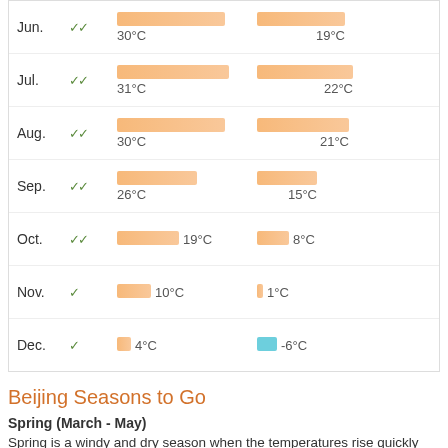| Month | Rating | High Temp | Low Temp |
| --- | --- | --- | --- |
| Jun. | ✓✓ | 30°C | 19°C |
| Jul. | ✓✓ | 31°C | 22°C |
| Aug. | ✓✓ | 30°C | 21°C |
| Sep. | ✓✓ | 26°C | 15°C |
| Oct. | ✓✓ | 19°C | 8°C |
| Nov. | ✓ | 10°C | 1°C |
| Dec. | ✓ | 4°C | -6°C |
Beijing Seasons to Go
Spring (March - May)
Spring is a windy and dry season when the temperatures rise quickly day by day and vary greatly between day and night. The average temperature in spring is from 3°C/37°F to 13°C/55°F. It's still cold and dry in the early morning or at night. In early